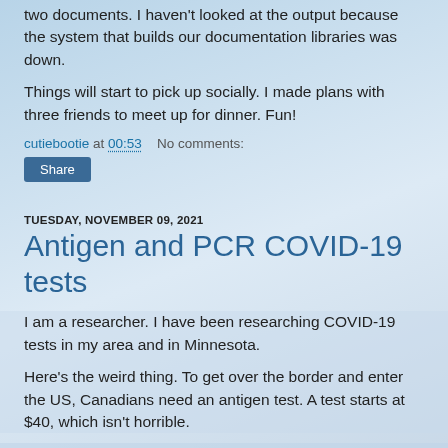two documents. I haven't looked at the output because the system that builds our documentation libraries was down.
Things will start to pick up socially. I made plans with three friends to meet up for dinner. Fun!
cutiebootie at 00:53    No comments:
Share
TUESDAY, NOVEMBER 09, 2021
Antigen and PCR COVID-19 tests
I am a researcher. I have been researching COVID-19 tests in my area and in Minnesota.
Here's the weird thing. To get over the border and enter the US, Canadians need an antigen test. A test starts at $40, which isn't horrible.
When coming back to Canada, an antigen test is not accepted. Instead, a PCR test is required. The cheapest,